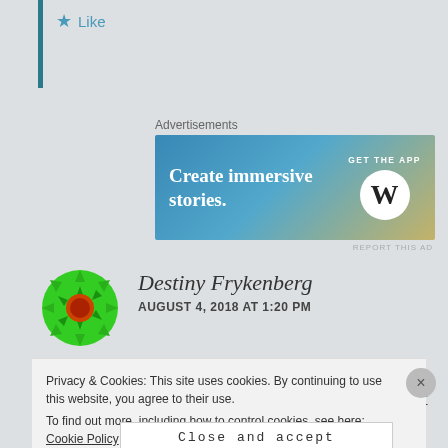Like
Advertisements
[Figure (other): WordPress app advertisement banner reading 'Create immersive stories. GET THE APP' with WordPress logo]
REPORT THIS AD
Destiny Frykenberg
AUGUST 4, 2018 AT 1:20 PM
Hi! I was walking my dog and saw a cardinal hot by a car, I tried to save him but ended up laying him to rest with a seashell and did a little Reiki on him (not sure why he was
Privacy & Cookies: This site uses cookies. By continuing to use this website, you agree to their use.
To find out more, including how to control cookies, see here: Cookie Policy
Close and accept